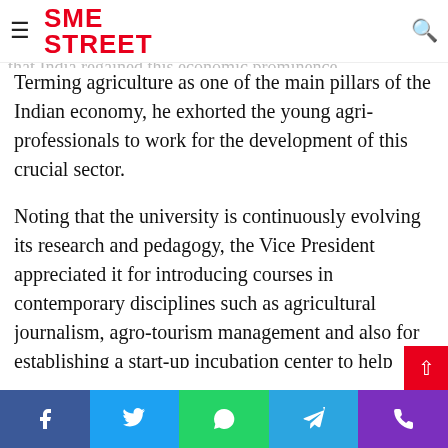SME STREET
sector, despite challenges thrown by COVID-19, the Vice President noted that this was the first time since 2013 that India regained this economic prominence.
Terming agriculture as one of the main pillars of the Indian economy, he exhorted the young agri-professionals to work for the development of this crucial sector.
Noting that the university is continuously evolving its research and pedagogy, the Vice President appreciated it for introducing courses in contemporary disciplines such as agricultural journalism, agro-tourism management and also for establishing a start-up incubation center to help students start their own business enterprises. “Agro-based tourism which wi... boost farm economy and will also act as a detox therapy...
Facebook | Twitter | WhatsApp | Telegram | Phone